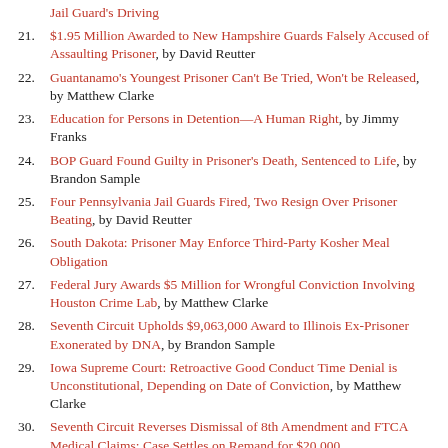Jail Guard's Driving
21. $1.95 Million Awarded to New Hampshire Guards Falsely Accused of Assaulting Prisoner, by David Reutter
22. Guantanamo's Youngest Prisoner Can't Be Tried, Won't be Released, by Matthew Clarke
23. Education for Persons in Detention—A Human Right, by Jimmy Franks
24. BOP Guard Found Guilty in Prisoner's Death, Sentenced to Life, by Brandon Sample
25. Four Pennsylvania Jail Guards Fired, Two Resign Over Prisoner Beating, by David Reutter
26. South Dakota: Prisoner May Enforce Third-Party Kosher Meal Obligation
27. Federal Jury Awards $5 Million for Wrongful Conviction Involving Houston Crime Lab, by Matthew Clarke
28. Seventh Circuit Upholds $9,063,000 Award to Illinois Ex-Prisoner Exonerated by DNA, by Brandon Sample
29. Iowa Supreme Court: Retroactive Good Conduct Time Denial is Unconstitutional, Depending on Date of Conviction, by Matthew Clarke
30. Seventh Circuit Reverses Dismissal of 8th Amendment and FTCA Medical Claims; Case Settles on Remand for $20,000
31. New York Politicians Want to Re-Evaluate Civil Confinement